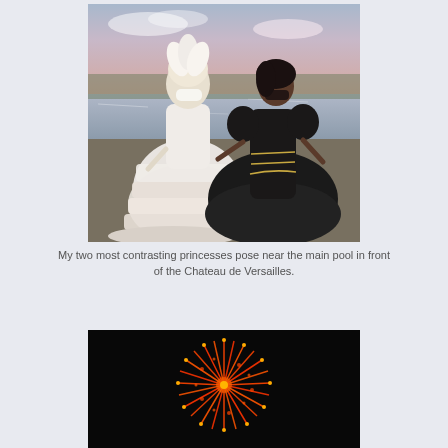[Figure (photo): Two women in contrasting masquerade ball gowns pose near a pool. One wears a white ruffled period dress with a white feathered mask; the other wears a black voluminous gown with gold trim and a dark mask. A waterfront with trees and a pastel sunset sky is visible in the background.]
My two most contrasting princesses pose near the main pool in front of the Chateau de Versailles.
[Figure (photo): Partial view of fireworks against a dark night sky, showing bright red and orange sparks in a large burst pattern.]